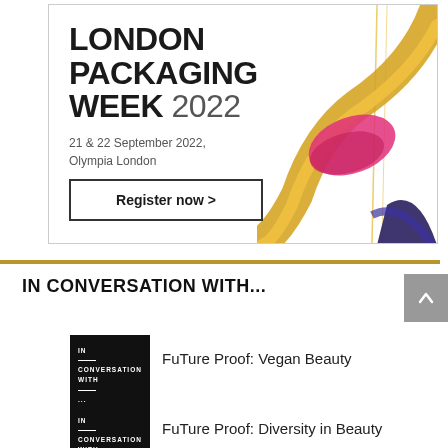[Figure (illustration): London Packaging Week 2022 advertisement banner with decorative cosmetic art (pink and gold swirl), date 21 & 22 September 2022 Olympia London, and Register now button]
IN CONVERSATION WITH...
[Figure (illustration): Black thumbnail with IN CONVERSATION WITH ... text]
FuTure Proof: Vegan Beauty
[Figure (illustration): Black thumbnail with IN CONVERSATION WITH ... text]
FuTure Proof: Diversity in Beauty